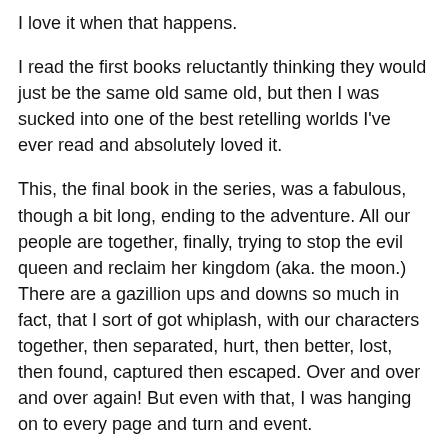I love it when that happens.
I read the first books reluctantly thinking they would just be the same old same old, but then I was sucked into one of the best retelling worlds I've ever read and absolutely loved it.
This, the final book in the series, was a fabulous, though a bit long, ending to the adventure. All our people are together, finally, trying to stop the evil queen and reclaim her kingdom (aka. the moon.) There are a gazillion ups and downs so much in fact, that I sort of got whiplash, with our characters together, then separated, hurt, then better, lost, then found, captured then escaped. Over and over and over again! But even with that, I was hanging on to every page and turn and event.
I loved that even though the book was long, the chapters were very short, which makes a reader feel like they are totally flying through it! (Still, how long did it take me to read this? Way too long!)
I won't go through the specific things that happen in this